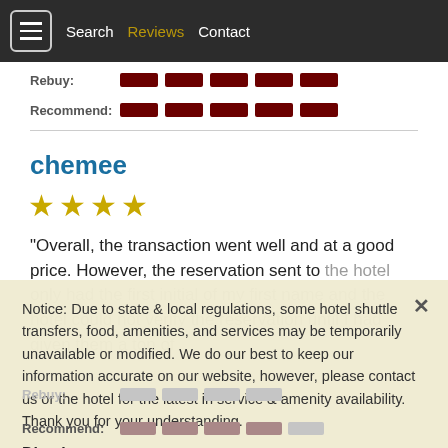Search | Reviews | Contact
Rebuy: [rating bars]
Recommend: [rating bars]
chemee
[Figure (other): 4 gold stars rating]
"Overall, the transaction went well and at a good price. However, the reservation sent to the hotel only had the first initial of my first name and the hotel could not verify the reservation until I had given them a ton of confirmation until they were also able to confirm with the reservation number
Notice: Due to state & local regulations, some hotel shuttle transfers, food, amenities, and services may be temporarily unavailable or modified. We do our best to keep our information accurate on our website, however, please contact us or the hotel for the latest in service & amenity availability. Thank you for your understanding.
Dismiss
Rebuy: [rating bars]
Recommend: [rating bars]